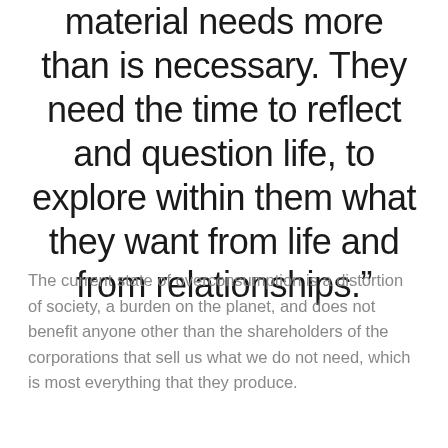material needs more than is necessary. They need the time to reflect and question life, to explore within them what they want from life and from relationships.”
The current state of overconsumption is a distortion of society, a burden on the planet, and does not benefit anyone other than the shareholders of the corporations that sell us what we do not need, which is most everything that they produce.